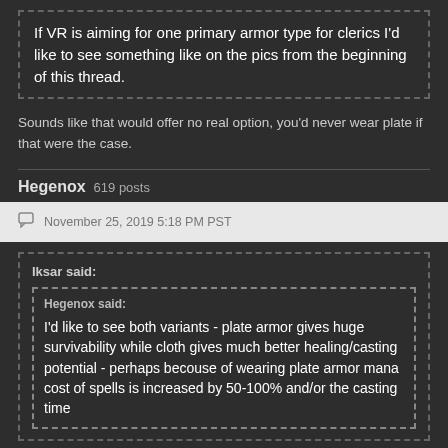If VR is aiming for one primary armor type for clerics I'd like to see something like on the pics from the beginning of this thread.
Sounds like that would offer no real option, you'd never wear plate if that were the case.
Hegenox  619 posts
November 25, 2019 5:18 PM PST
Iksar said:
Hegenox said:
I'd like to see both variants - plate armor gives huge survivability while cloth gives much better healing/casting potential - perhaps becouse of wearing plate armor mana cost of spells is increased by 50-100% and/or the casting time